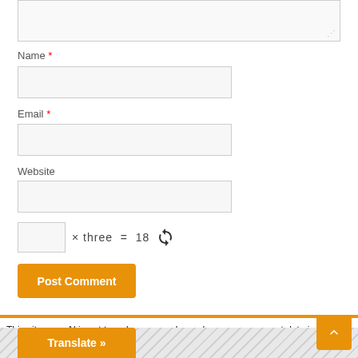[Figure (screenshot): Textarea input field (top portion cut off) with resize handle]
Name *
[Figure (screenshot): Name text input field]
Email *
[Figure (screenshot): Email text input field]
Website
[Figure (screenshot): Website text input field]
[Figure (screenshot): CAPTCHA box with equation: [blank] × three = 18 with refresh icon]
[Figure (screenshot): Post Comment button in orange]
This site uses Akismet to reduce spam. Learn how your comment data is processed.
[Figure (screenshot): Translate >> button in orange at bottom left, scroll-up button in orange at bottom right]